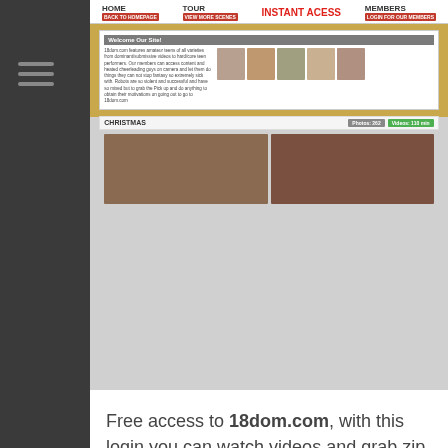[Figure (screenshot): Screenshot of website 18dom.com showing navigation bar with HOME, TOUR, INSTANT ACESS, MEMBERS, a welcome section with thumbnail images, and a CHRISTMAS gallery section]
Free access to 18dom.com, with this login you can watch videos and grab zip files.
http://0:nvate01:ntv2003@18dom.com/members
http://1:dontroy86:fishon@18dom.com/members
http://2:shuhey:soshavi@18dom.com/members
http://3:moye17:baseball@18dom.com/members
http://4:rpadmin:27issBDC@18dom.com/members